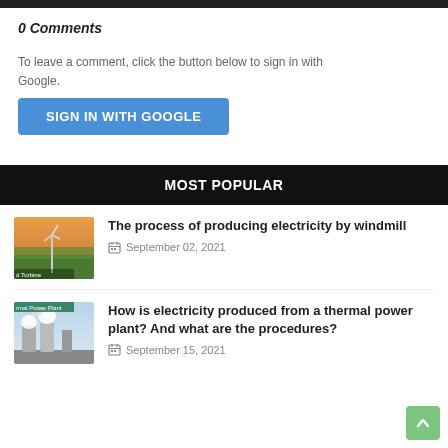0 Comments
To leave a comment, click the button below to sign in with Google.
SIGN IN WITH GOOGLE
MOST POPULAR
The process of producing electricity by windmill
September 02, 2021
How is electricity produced from a thermal power plant? And what are the procedures?
September 15, 2021